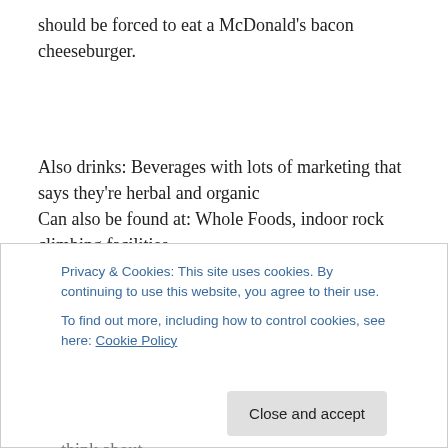should be forced to eat a McDonald's bacon cheeseburger.
Also drinks: Beverages with lots of marketing that says they're herbal and organic
Can also be found at: Whole Foods, indoor rock climbing facilities
A... (partially visible text)
Privacy & Cookies: This site uses cookies. By continuing to use this website, you agree to their use.
To find out more, including how to control cookies, see here: Cookie Policy
Close and accept
think about